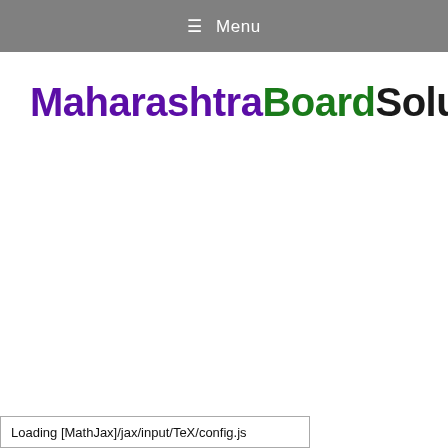≡ Menu
MaharashtraBoardSolutions.in
Loading [MathJax]/jax/input/TeX/config.js